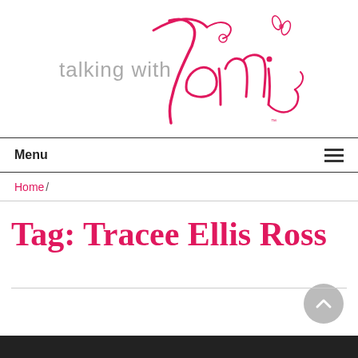[Figure (logo): Talking with Tami logo — 'talking with' in gray sans-serif, 'Tami' in large pink cursive script with decorative flourishes]
Menu
Home /
Tag: Tracee Ellis Ross
[Figure (photo): Dark bottom strip suggesting a video thumbnail or image at the very bottom of the page]